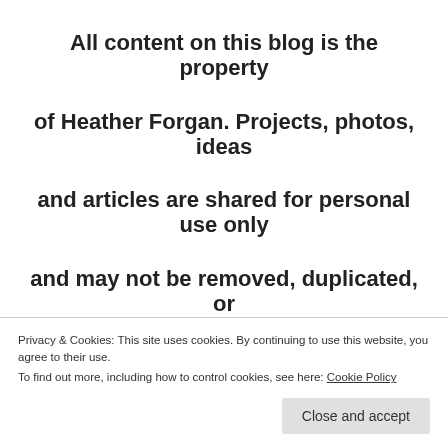All content on this blog is the property of Heather Forgan. Projects, photos, ideas and articles are shared for personal use only and may not be removed, duplicated, or copied without permission. All opinions expressed are the personal views of
Privacy & Cookies: This site uses cookies. By continuing to use this website, you agree to their use.
To find out more, including how to control cookies, see here: Cookie Policy
Close and accept